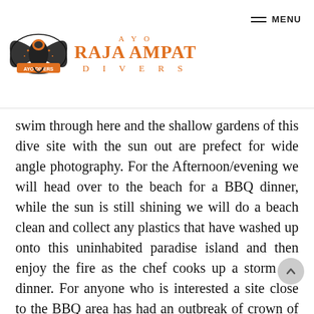AYO RAJA AMPAT DIVERS — MENU
swim through here and the shallow gardens of this dive site with the sun out are prefect for wide angle photography. For the Afternoon/evening we will head over to the beach for a BBQ dinner, while the sun is still shining we will do a beach clean and collect any plastics that have washed up onto this uninhabited paradise island and then enjoy the fire as the chef cooks up a storm for dinner. For anyone who is interested a site close to the BBQ area has had an outbreak of crown of thorn starfish (COTS). Ayo Divers works in partnership with non-profit NGO Barefoot Conservation in controlling the population via inje kits, if people are interested they can join the cruise director for a night dive there but they will have to